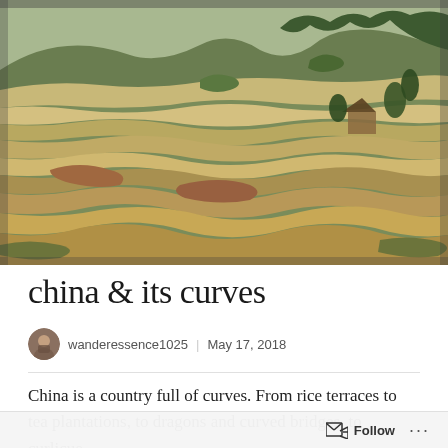[Figure (photo): Aerial view of sweeping rice terraces carved into hillsides in China, with lush green vegetation and a small traditional structure visible on the right side.]
china & its curves
wanderessence1025  |  May 17, 2018
China is a country full of curves. From rice terraces to tea plantations, to dragons and curved bridges, to curlicue